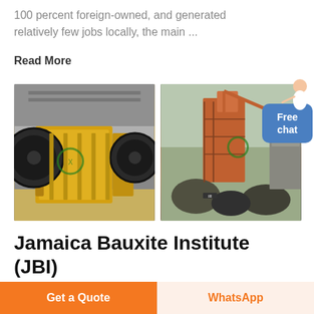100 percent foreign-owned, and generated relatively few jobs locally, the main ...
Read More
[Figure (photo): Two industrial mining/crushing machines: left shows yellow jaw crusher equipment in a factory; right shows large orange industrial processing equipment outdoors.]
Jamaica Bauxite Institute (JBI)
Technology > Jamaica Bauxite Institute (JBI)
Get a Quote
WhatsApp